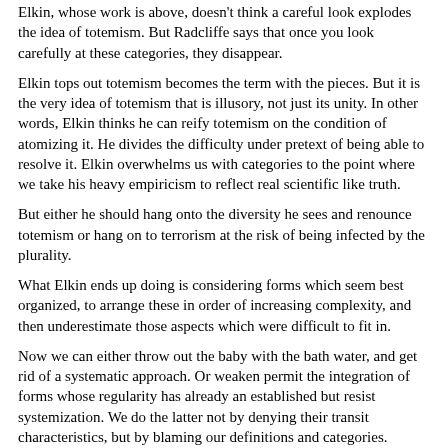Elkin, whose work is above, doesn't think a careful look explodes the idea of totemism.  But Radcliffe says that once you look carefully at these categories, they disappear.
Elkin tops out totemism becomes the term with the pieces.  But it is the very idea of totemism that is illusory, not just its unity.  In other words, Elkin thinks he can reify totemism on the condition of atomizing it.  He divides the difficulty under pretext of being able to resolve it. Elkin overwhelms us with categories to the point where we take his heavy empiricism to reflect real scientific like truth.
But either he should hang onto the diversity he sees and renounce totemism or hang on to terrorism at the risk of being infected by the plurality.
What Elkin ends up doing is considering forms which seem best organized, to arrange these in order of increasing complexity, and then underestimate those aspects which were difficult to fit in.
Now we can either throw out the baby with the bath water, and get rid of a systematic approach.  Or weaken permit the integration of forms whose regularity has already an established but resist systemization.  We do the latter not by denying their transit characteristics, but by blaming our definitions and categories.
He wants to do the latter.  He hopes to do this by combining both the social and the religious phenomenon.
---SIX----
he wants a strict flowchart.  Since he can't find it on the sociological level, he will look on the religious level.